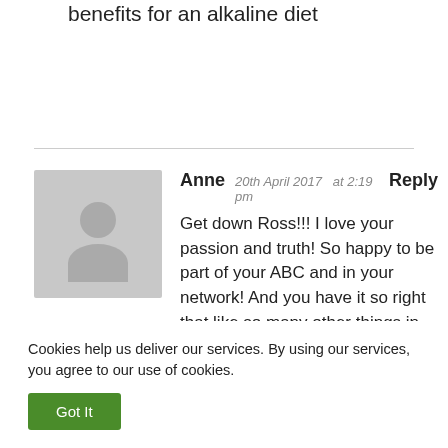benefits for an alkaline diet
Anne  20th April 2017  at 2:19 pm  Reply
Get down Ross!!! I love your passion and truth! So happy to be part of your ABC and in your network! And you have it so right that like so many other things in life it all comes down to whose pocket will be lined. I'll stick with Mother Nature as much as I can as I work my way out
Cookies help us deliver our services. By using our services, you agree to our use of cookies.